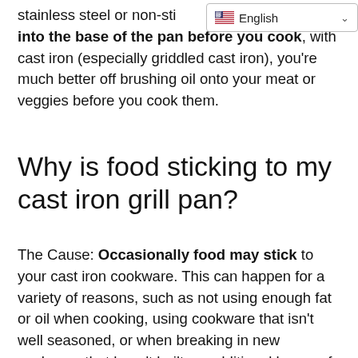stainless steel or non-sti… little oil into the base of the pan before you cook, with cast iron (especially griddled cast iron), you're much better off brushing oil onto your meat or veggies before you cook them.
Why is food sticking to my cast iron grill pan?
The Cause: Occasionally food may stick to your cast iron cookware. This can happen for a variety of reasons, such as not using enough fat or oil when cooking, using cookware that isn't well seasoned, or when breaking in new cookware that hasn't built up additional layers of seasoning.